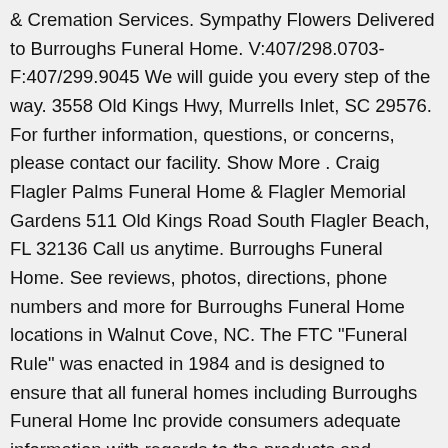& Cremation Services. Sympathy Flowers Delivered to Burroughs Funeral Home. V:407/298.0703-F:407/299.9045 We will guide you every step of the way. 3558 Old Kings Hwy, Murrells Inlet, SC 29576. For further information, questions, or concerns, please contact our facility. Show More . Craig Flagler Palms Funeral Home & Flagler Memorial Gardens 511 Old Kings Road South Flagler Beach, FL 32136 Call us anytime. Burroughs Funeral Home. See reviews, photos, directions, phone numbers and more for Burroughs Funeral Home locations in Walnut Cove, NC. The FTC "Funeral Rule" was enacted in 1984 and is designed to ensure that all funeral homes including Burroughs Funeral Home Inc provide consumers adequate information with regards to the products and services they are charged for, including obtaining price information on the telephone. Burroughs Funeral Home 688 Beauty Spot Rd E, Bennettsville, SC 843-479-4761 Send flowers. As family owned and operated funeral homes, we understand the special care that families need during their time of loss. Plan a funeral, find contact information and more.